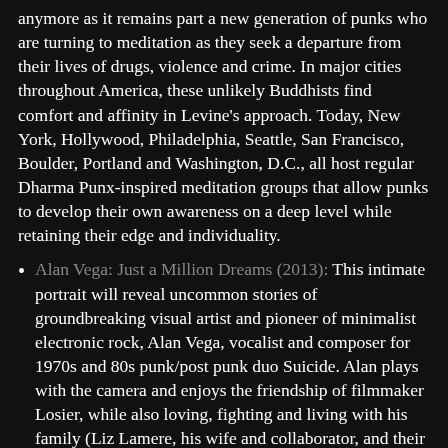anymore as it remains part a new generation of punks who are turning to meditation as they seek a departure from their lives of drugs, violence and crime. In major cities throughout America, these unlikely Buddhists find comfort and affinity in Levine's approach. Today, New York, Hollywood, Philadelphia, Seattle, San Francisco, Boulder, Portland and Washington, D.C., all host regular Dharma Punx-inspired meditation groups that allow punks to develop their own awareness on a deep level while retaining their edge and individuality.
Alan Vega: Just a Million Dreams (2013): This intimate portrait will reveal uncommon stories of groundbreaking visual artist and pioneer of minimalist electronic rock, Alan Vega, vocalist and composer for 1970s and 80s punk/post punk duo Suicide. Alan plays with the camera and enjoys the friendship of filmmaker Losier, while also loving, fighting and living with his family (Liz Lamere, his wife and collaborator, and their son Dante, young replica of Alan). Traces of joy, eccentricity, illumination but also deep fatigue and slow Suicide. The rock-n-roll Alan is still...